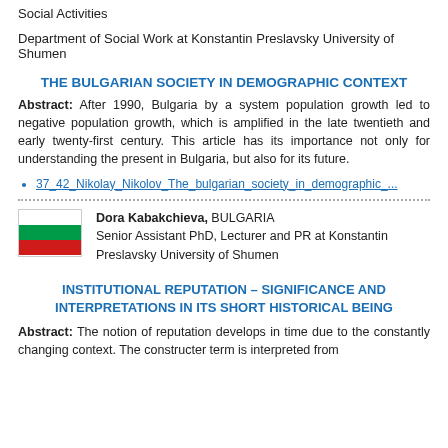Social Activities
Department of Social Work at Konstantin Preslavsky University of Shumen
THE BULGARIAN SOCIETY IN DEMOGRAPHIC CONTEXT
Abstract: After 1990, Bulgaria by a system population growth led to negative population growth, which is amplified in the late twentieth and early twenty-first century. This article has its importance not only for understanding the present in Bulgaria, but also for its future.
37_42_Nikolay_Nikolov_The_bulgarian_society_in_demographic_...
[Figure (illustration): Bulgarian flag — three horizontal stripes: white, green, red]
Dora Kabakchieva, BULGARIA
Senior Assistant PhD, Lecturer and PR at Konstantin Preslavsky University of Shumen
INSTITUTIONAL REPUTATION – SIGNIFICANCE AND INTERPRETATIONS IN ITS SHORT HISTORICAL BEING
Abstract: The notion of reputation develops in time due to the constantly changing context. The constructer term is interpreted from